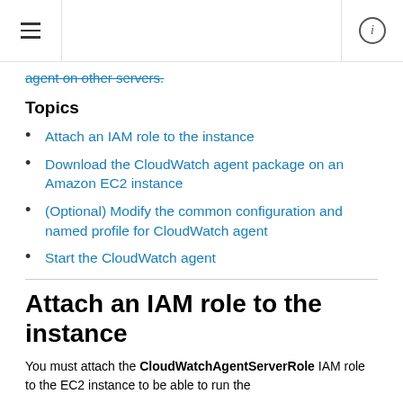≡  [navigation header]  ⓘ
agent on other servers.
Topics
Attach an IAM role to the instance
Download the CloudWatch agent package on an Amazon EC2 instance
(Optional) Modify the common configuration and named profile for CloudWatch agent
Start the CloudWatch agent
Attach an IAM role to the instance
You must attach the CloudWatchAgentServerRole IAM role to the EC2 instance to be able to run the